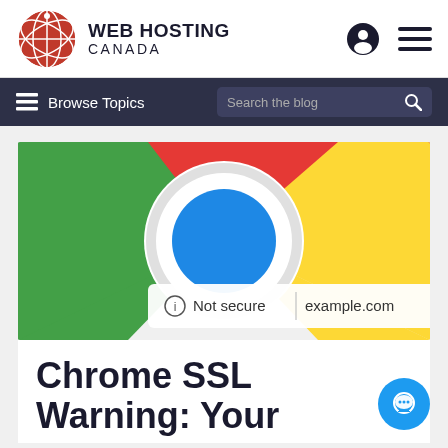[Figure (logo): Web Hosting Canada logo with red globe and text 'WEB HOSTING CANADA']
Browse Topics | Search the blog
[Figure (illustration): Chrome browser logo with address bar showing 'Not secure | example.com']
Chrome SSL Warning: Your